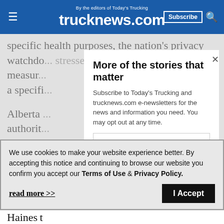By the editors of Today's Trucking | trucknews.com | Subscribe
specific health purposes, the nation's privacy watchdo... stressed in a recent statement. The measure... a specifi...
Alberta ... authorit... ABTrace... for 21 da...
More of the stories that matter
Subscribe to Today's Trucking and trucknews.com e-newsletters for the news and information you need. You may opt out at any time.
Email
We use cookies to make your website experience better. By accepting this notice and continuing to browse our website you confirm you accept our Terms of Use & Privacy Policy.
read more >>
I Accept
Haines...